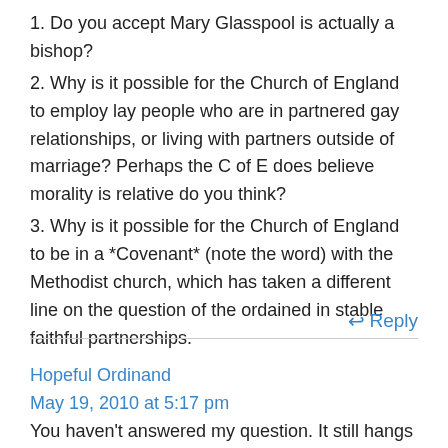1. Do you accept Mary Glasspool is actually a bishop?
2. Why is it possible for the Church of England to employ lay people who are in partnered gay relationships, or living with partners outside of marriage? Perhaps the C of E does believe morality is relative do you think?
3. Why is it possible for the Church of England to be in a *Covenant* (note the word) with the Methodist church, which has taken a different line on the question of the ordained in stable faithful partnerships.
Reply
Hopeful Ordinand
May 19, 2010 at 5:17 pm
You haven't answered my question. It still hangs